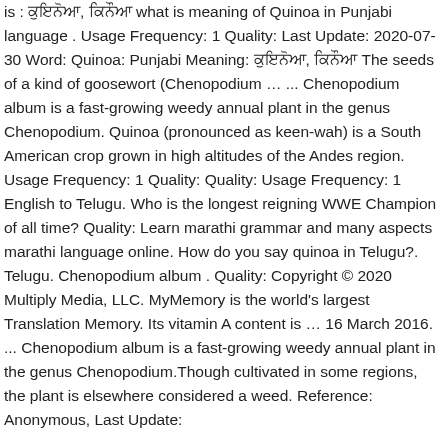is : ਕੁਇਨੋਆ, ਕਿਨੌਆ what is meaning of Quinoa in Punjabi language . Usage Frequency: 1 Quality: Last Update: 2020-07-30 Word: Quinoa: Punjabi Meaning: ਕੁਇਨੋਆ, ਕਿਨੌਆ The seeds of a kind of goosewort (Chenopodium … ... Chenopodium album is a fast-growing weedy annual plant in the genus Chenopodium. Quinoa (pronounced as keen-wah) is a South American crop grown in high altitudes of the Andes region. Usage Frequency: 1 Quality: Quality: Usage Frequency: 1 English to Telugu. Who is the longest reigning WWE Champion of all time? Quality: Learn marathi grammar and many aspects marathi language online. How do you say quinoa in Telugu?. Telugu. Chenopodium album . Quality: Copyright © 2020 Multiply Media, LLC. MyMemory is the world's largest Translation Memory. Its vitamin A content is … 16 March 2016. ... Chenopodium album is a fast-growing weedy annual plant in the genus Chenopodium.Though cultivated in some regions, the plant is elsewhere considered a weed. Reference: Anonymous, Last Update: